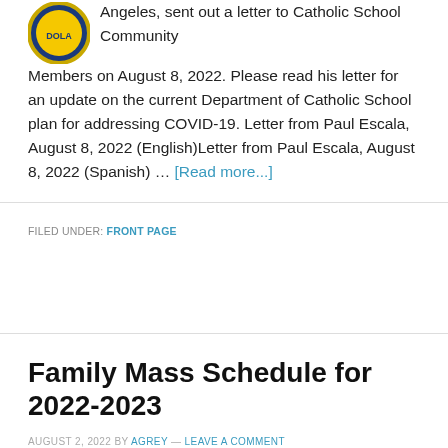Angeles, sent out a letter to Catholic School Community Members on August 8, 2022. Please read his letter for an update on the current Department of Catholic School plan for addressing COVID-19. Letter from Paul Escala, August 8, 2022 (English)Letter from Paul Escala, August 8, 2022 (Spanish) … [Read more...]
FILED UNDER: FRONT PAGE
Family Mass Schedule for 2022-2023
AUGUST 2, 2022 BY AGREY — LEAVE A COMMENT